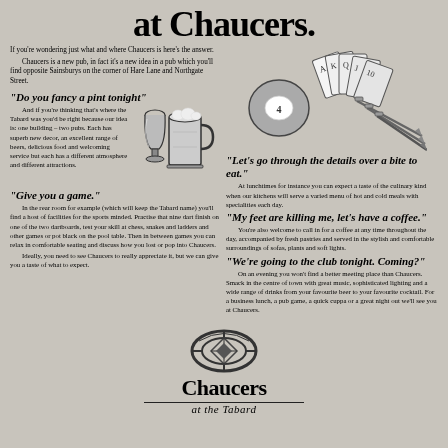at Chaucers.
If you're wondering just what and where Chaucers is here's the answer. Chaucers is a new pub, in fact it's a new idea in a pub which you'll find opposite Sainsburys on the corner of Hare Lane and Northgate Street.
"Do you fancy a pint tonight"
And if you're thinking that's where the Tabard was you'd be right because our idea is: one building – two pubs. Each has superb new decor, an excellent range of beers, delicious food and welcoming service but each has a different atmosphere and different attractions.
[Figure (illustration): Two beer mugs/glasses illustration]
[Figure (illustration): Pool ball, playing cards, and darts illustration]
"Let's go through the details over a bite to eat."
At lunchtimes for instance you can expect a taste of the culinary kind when our kitchens will serve a varied menu of hot and cold meals with specialities each day.
"Give you a game."
In the rear room for example (which will keep the Tabard name) you'll find a host of facilities for the sports minded. Practise that nine dart finish on one of the two dartboards, test your skill at chess, snakes and ladders and other games or pot black on the pool table. Then in between games you can relax in comfortable seating and discuss how you lost or pop into Chaucers. Ideally, you need to see Chaucers to really appreciate it, but we can give you a taste of what to expect.
"My feet are killing me, let's have a coffee."
You're also welcome to call in for a coffee at any time throughout the day, accompanied by fresh pastries and served in the stylish and comfortable surroundings of sofas, plants and soft lights.
"We're going to the club tonight. Coming?"
On an evening you won't find a better meeting place than Chaucers. Smack in the centre of town with great music, sophisticated lighting and a wide range of drinks from your favourite beer to your favourite cocktail. For a business lunch, a pub game, a quick cuppa or a great night out we'll see you at Chaucers.
[Figure (logo): Chaucers wheel/diamond logo]
Chaucers
at the Tabard